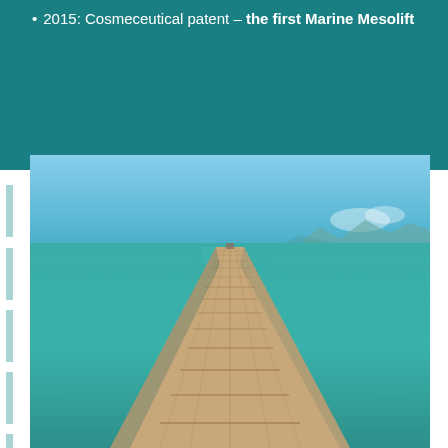2015: Cosmeceutical patent – the first Marine Mesolift
[Figure (photo): A wooden boardwalk/pier extending into calm turquoise sea water under a clear blue sky, with mountains visible on the horizon. Perspective shot showing the pier receding into the distance.]